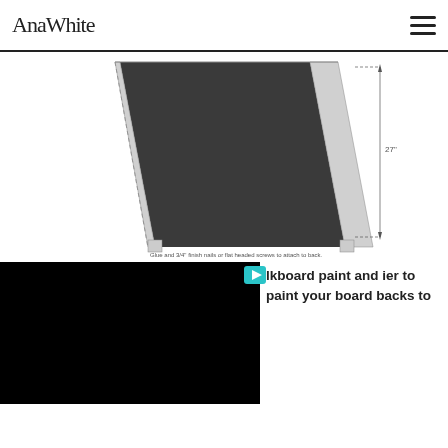AnaWhite
[Figure (engineering-diagram): Technical construction diagram of a chalkboard/easel back panel shown at an angle, with a dimension annotation '27'' and a note reading 'Glue and 3/4" finish nails or flat headed screws to attach to back.']
[Figure (screenshot): Black video player rectangle with a teal/cyan play button icon in the upper right corner of the video area. Partially visible text to the right reads: 'lkboard paint and ier to paint your board backs to']